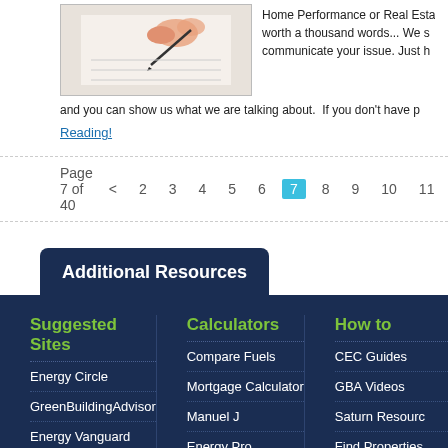[Figure (photo): Hand holding a pen over paper, illustrating the concept of pictures/photos for home performance or real estate communication]
Home Performance or Real Esta worth a thousand words... We s communicate your issue. Just h and you can show us what we are talking about. If you don't have p
Reading!
Page 7 of 40  <  2  3  4  5  6  7  8  9  10  11  >
Additional Resources
Suggested Sites
Calculators
How to
Energy Circle
GreenBuildingAdvisor
Energy Vanguard
Passive House
Energy Star
Efficiency First
Compare Fuels
Mortgage Calculator
Manuel J
Energy Pro
D.O.E.
Energy Monitors
CEC Guides
GBA Videos
Saturn Resourc
Find Properties
GEE's 3 Packag
Help Save the R